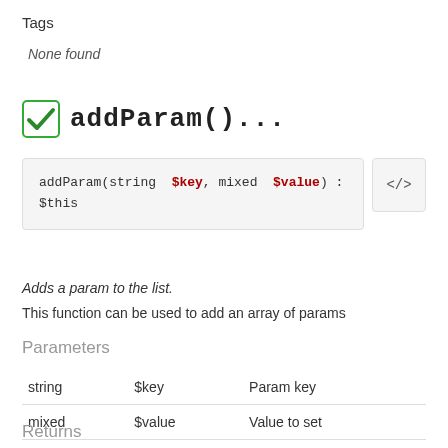Tags
None found
✔ addParam()...
addParam(string $key, mixed $value) : $this
Adds a param to the list.
This function can be used to add an array of params
Parameters
| string | $key | Param key |
| mixed | $value | Value to set |
Returns